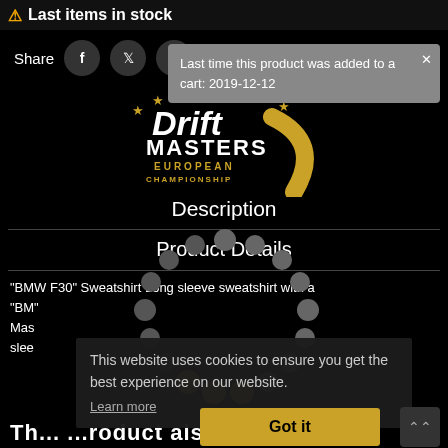⚠ Last items in stock
Share
[Figure (screenshot): Tooltip popup: Last time this product was added to a cart: 2019-12-12]
[Figure (logo): Drift Masters European Championship logo with gold stars and yellow swoosh]
Description
Product Details
"BMW F30" Sweatshirt Long sleeve sweatshirt with a "BM' Mas' sleeve
This website uses cookies to ensure you get the best experience on our website.
Learn more
Got it
Th... ...roduct also becomi...